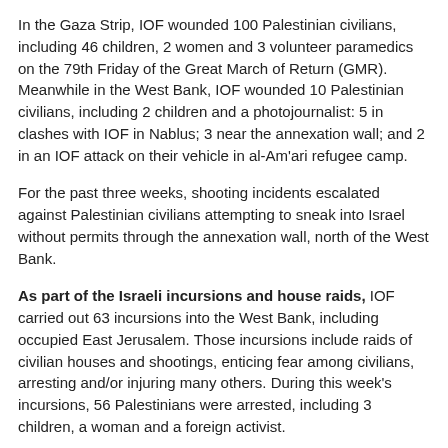In the Gaza Strip, IOF wounded 100 Palestinian civilians, including 46 children, 2 women and 3 volunteer paramedics on the 79th Friday of the Great March of Return (GMR). Meanwhile in the West Bank, IOF wounded 10 Palestinian civilians, including 2 children and a photojournalist: 5 in clashes with IOF in Nablus; 3 near the annexation wall; and 2 in an IOF attack on their vehicle in al-Am'ari refugee camp.
For the past three weeks, shooting incidents escalated against Palestinian civilians attempting to sneak into Israel without permits through the annexation wall, north of the West Bank.
As part of the Israeli incursions and house raids, IOF carried out 63 incursions into the West Bank, including occupied East Jerusalem. Those incursions include raids of civilian houses and shootings, enticing fear among civilians, arresting and/or injuring many others. During this week's incursions, 56 Palestinians were arrested, including 3 children, a woman and a foreign activist.
In the Gaza Strip, 6 shootings were reported against Palestinian fishing boats at sea within the allowed limited area for fishing while 3